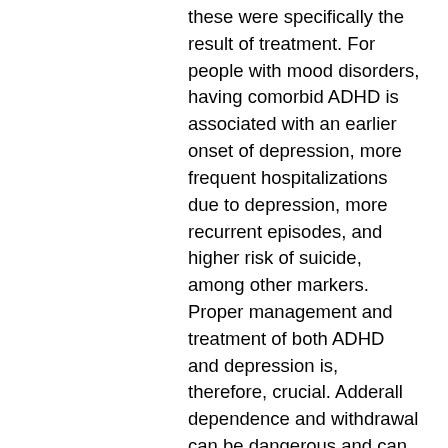these were specifically the result of treatment. For people with mood disorders, having comorbid ADHD is associated with an earlier onset of depression, more frequent hospitalizations due to depression, more recurrent episodes, and higher risk of suicide, among other markers. Proper management and treatment of both ADHD and depression is, therefore, crucial. Adderall dependence and withdrawal can be dangerous and can cause depression, suicidal thoughts, fatigue, sleep problems, and more. Using Adderall for Depression Though ADHD and depression can be diagnosed separately or together, says Alex Dimitriu, MD, founder of Menlo Park Psychiatry and Sleep Medicine, it's better to treat one condition at a time. I just got diagnosed by my psychologist less than a month ago and my psychiatrist prescribed me fluoxetine to deal with anxiety/depression first before trying any stimulants (bc she